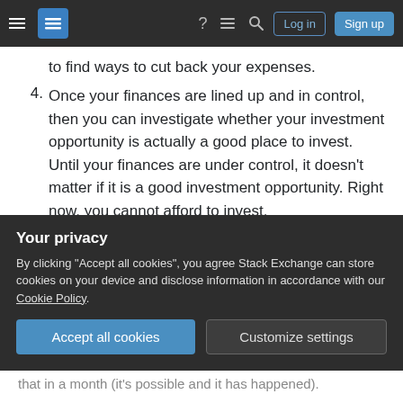Stack Exchange navigation bar with hamburger menu, logo, help, chat, search icons, Log in and Sign up buttons
to find ways to cut back your expenses.
4. Once your finances are lined up and in control, then you can investigate whether your investment opportunity is actually a good place to invest. Until your finances are under control, it doesn't matter if it is a good investment opportunity. Right now, you cannot afford to invest.
Share
Improve this answer
answered Sep 16, 2021 at 15:08
Michael Richardson
Your privacy
By clicking "Accept all cookies", you agree Stack Exchange can store cookies on your device and disclose information in accordance with our Cookie Policy.
Accept all cookies  Customize settings
that in a month (it's possible and it has happened).